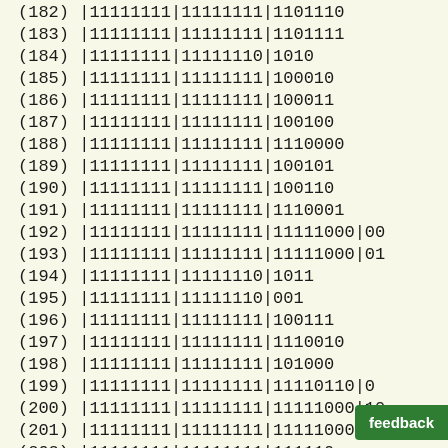(182)    |11111111|11111111|1101110
(183)    |11111111|11111111|1101111
(184)    |11111111|11111110|1010
(185)    |11111111|11111111|100010
(186)    |11111111|11111111|100011
(187)    |11111111|11111111|100100
(188)    |11111111|11111111|1110000
(189)    |11111111|11111111|100101
(190)    |11111111|11111111|100110
(191)    |11111111|11111111|1110001
(192)    |11111111|11111111|11111000|00
(193)    |11111111|11111111|11111000|01
(194)    |11111111|11111110|1011
(195)    |11111111|11111110|001
(196)    |11111111|11111111|100111
(197)    |11111111|11111111|1110010
(198)    |11111111|11111111|101000
(199)    |11111111|11111111|11110110|0
(200)    |11111111|11111111|11111000|10
(201)    |11111111|11111111|11111000|11
(202)    |11111111|11111111|111110...